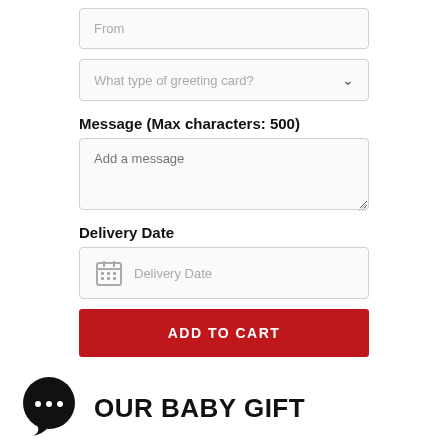From
What type of greeting card?
Message (Max characters: 500)
Add a message
Delivery Date
Delivery Date
ADD TO CART
OUR BABY GIFT